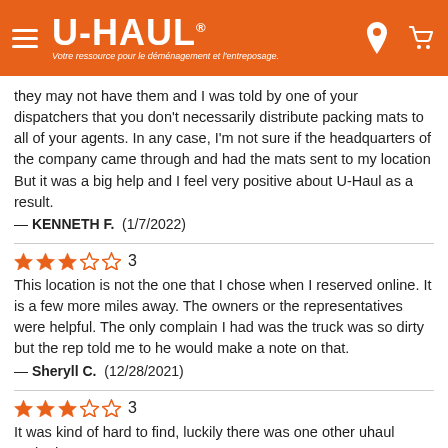[Figure (screenshot): U-Haul website header with orange background, hamburger menu, U-Haul logo, location pin icon, and cart icon]
they may not have them and I was told by one of your dispatchers that you don't necessarily distribute packing mats to all of your agents. In any case, I'm not sure if the headquarters of the company came through and had the mats sent to my location But it was a big help and I feel very positive about U-Haul as a result.
— KENNETH F.  (1/7/2022)
3 stars rating: 3
This location is not the one that I chose when I reserved online. It is a few more miles away. The owners or the representatives were helpful. The only complain I had was the truck was so dirty but the rep told me to he would make a note on that.
— Sheryll C.  (12/28/2021)
3 stars rating: 3
It was kind of hard to find, luckily there was one other uhaul parked.